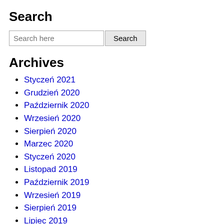Search
Styczeń 2021
Grudzień 2020
Październik 2020
Wrzesień 2020
Sierpień 2020
Marzec 2020
Styczeń 2020
Listopad 2019
Październik 2019
Wrzesień 2019
Sierpień 2019
Lipiec 2019
Czerwiec 2019
Listopad 2018
Październik 2018
Wrzesień 2018
Maj 2018
Marzec 2018